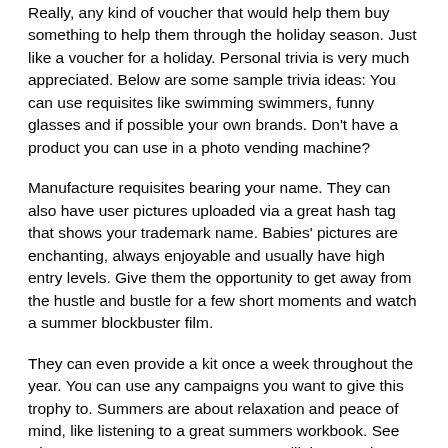Really, any kind of voucher that would help them buy something to help them through the holiday season. Just like a voucher for a holiday. Personal trivia is very much appreciated. Below are some sample trivia ideas: You can use requisites like swimming swimmers, funny glasses and if possible your own brands. Don't have a product you can use in a photo vending machine?
Manufacture requisites bearing your name. They can also have user pictures uploaded via a great hash tag that shows your trademark name. Babies' pictures are enchanting, always enjoyable and usually have high entry levels. Give them the opportunity to get away from the hustle and bustle for a few short moments and watch a summer blockbuster film.
They can even provide a kit once a week throughout the year. You can use any campaigns you want to give this trophy to. Summers are about relaxation and peace of mind, like listening to a great summers workbook. See what's on your users' summers. You will then receive review and shots from the same people who are browsing at their favourite place.
Or, just give away the present of your summers by giving away